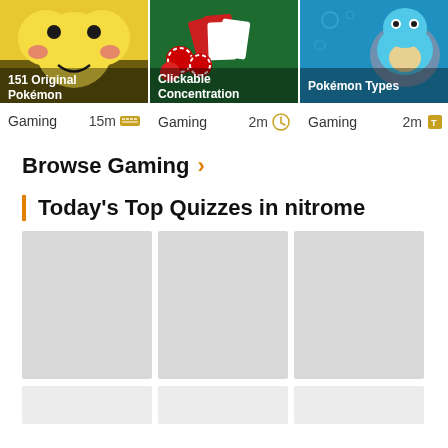[Figure (screenshot): Card: 151 Original Pokémon, Gaming, 15m, keyboard icon]
[Figure (screenshot): Card: Clickable Concentration, Gaming, 2m, cursor icon]
[Figure (screenshot): Card: Pokémon Types, Gaming, 2m, trophy icon]
Browse Gaming
Today's Top Quizzes in nitrome
[Figure (other): Loading placeholder card 1]
[Figure (other): Loading placeholder card 2]
[Figure (other): Loading placeholder card 3]